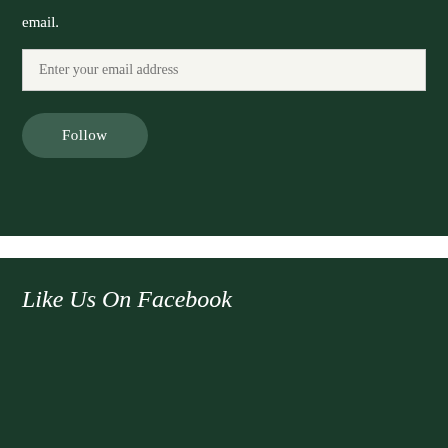email.
Enter your email address
Follow
Like Us On Facebook